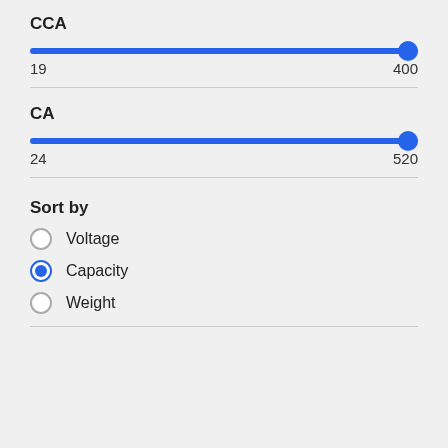CCA
[Figure (infographic): Slider for CCA range from 19 to 400, with handle at maximum (400)]
19    400
CA
[Figure (infographic): Slider for CA range from 24 to 520, with handle at maximum (520)]
24    520
Sort by
Voltage
Capacity
Weight